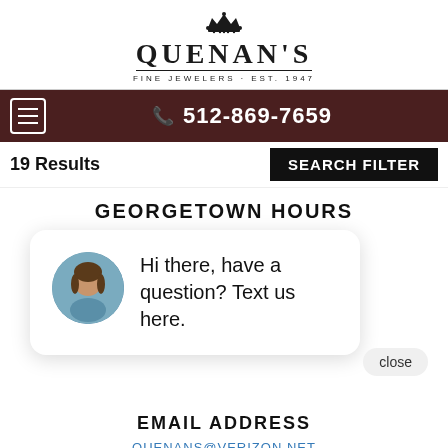[Figure (logo): Quenan's Fine Jewelers logo with crown icon, brand name in serif, and tagline FINE JEWELERS · EST. 1947]
512-869-7659
19 Results
SEARCH FILTER
GEORGETOWN HOURS
MONDAY- FRIDAY : 10AM - 6PM
SATURDAY : 10AM - 5PM
SUNDAY : CLOSED
close
Hi there, have a question? Text us here.
EMAIL ADDRESS
QUENANS@VERIZON.NET
TELEPHONE NUMBER
512-869-7659